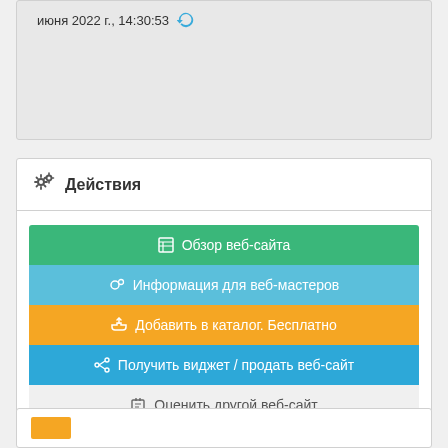июня 2022 г., 14:30:53
Действия
Обзор веб-сайта
Информация для веб-мастеров
Добавить в каталог. Бесплатно
Получить виджет / продать веб-сайт
Оценить другой веб-сайт